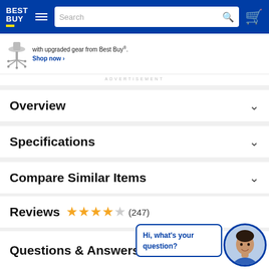Best Buy — Navigation bar with logo, hamburger menu, search bar, and cart icon
[Figure (screenshot): Best Buy website advertisement banner with office chair image, text 'with upgraded gear from Best Buy®.' and 'Shop now ›' link]
ADVERTISEMENT
Overview
Specifications
Compare Similar Items
Reviews ★★★★☆ (247)
Questions & Answers